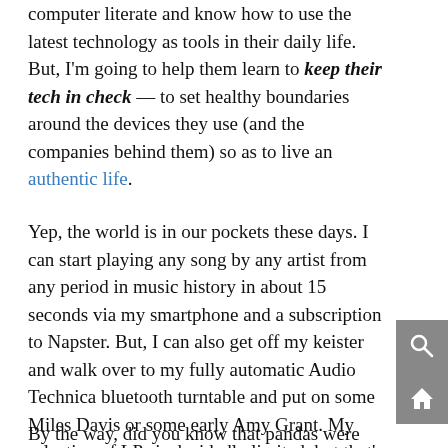computer literate and know how to use the latest technology as tools in their daily life. But, I'm going to help them learn to keep their tech in check — to set healthy boundaries around the devices they use (and the companies behind them) so as to live an authentic life.
Yep, the world is in our pockets these days. I can start playing any song by any artist from any period in music history in about 15 seconds via my smartphone and a subscription to Napster. But, I can also get off my keister and walk over to my fully automatic Audio Technica bluetooth turntable and put on some Miles Davis or some early Amy Grant. My selection of LPs is decidedly limited, but that's ok. I'm going for quality, not quantity. It turns out that learning is a bit like a good album. It takes time and effort to produce, it's a labor of love, and it stands the test of time.
By the way, did you know that pandas were largely